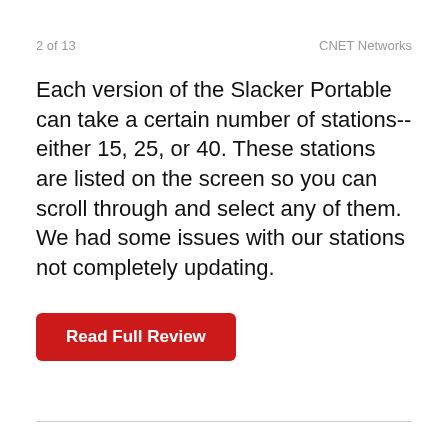2 of 13   CNET Networks
Each version of the Slacker Portable can take a certain number of stations--either 15, 25, or 40. These stations are listed on the screen so you can scroll through and select any of them. We had some issues with our stations not completely updating.
Read Full Review